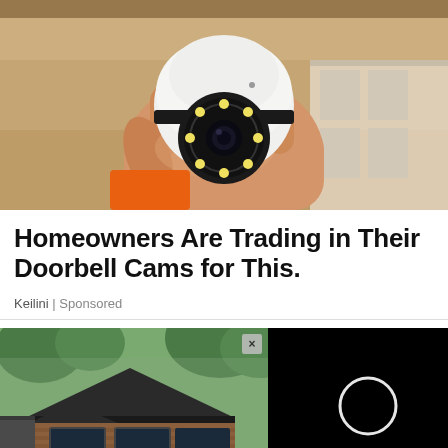[Figure (photo): A hand holding a small white dome/PTZ security camera with a ring of LED lights around the lens, against a brown cardboard box background with white packaging visible on the right.]
Homeowners Are Trading in Their Doorbell Cams for This.
Keilini | Sponsored
[Figure (photo): Split advertisement: left side shows a modern house exterior with dark roof and wooden cladding (with an X close button overlay and a 'Close Ad' button); right side shows a black background with a white ring/loading circle icon.]